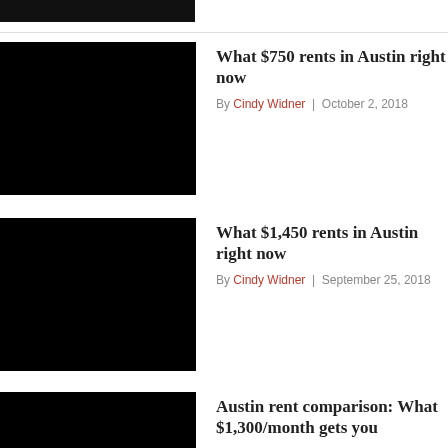[Figure (photo): Black image thumbnail for article 1]
What $750 rents in Austin right now
By Cindy Widner | October 2, 2018
[Figure (photo): Black image thumbnail for article 2]
What $1,450 rents in Austin right now
By Cindy Widner | September 25, 2018
[Figure (photo): Black image thumbnail for article 3]
Austin rent comparison: What $1,300/month gets you
By Cindy Widner | September 11, 2018